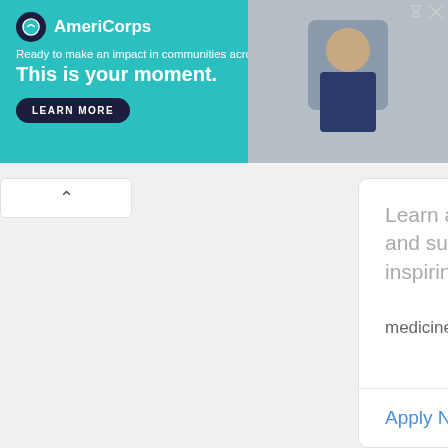[Figure (screenshot): AmeriCorps advertisement banner with teal background. Logo with circle icon and 'AmeriCorps' text. Tagline: 'Ready to make an impact in communities across the country?' Headline: 'This is your moment.' with a 'LEARN MORE' button. Photo of a person on the right side.]
Learn alongside a highly diverse and supportive student body and inspiring leadership.
medicine.osu.edu
Apply Now >